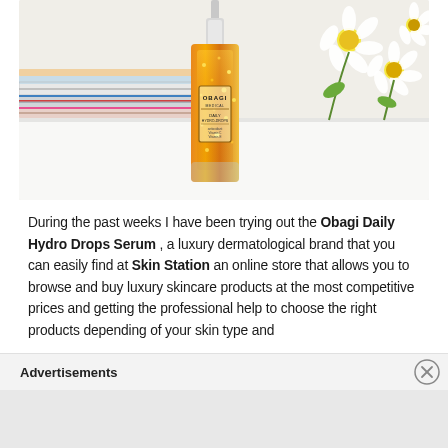[Figure (photo): Photo of an Obagi Daily Hydro Drops Serum bottle (amber/gold colored, glass bottle) placed on a white surface, with stacked colorful books/notebooks on the left side and white daisy flowers on the right side background.]
During the past weeks I have been trying out the Obagi Daily Hydro Drops Serum , a luxury dermatological brand that you can easily find at Skin Station an online store that allows you to browse and buy luxury skincare products at the most competitive prices and getting the professional help to choose the right products depending of your skin type and
Advertisements